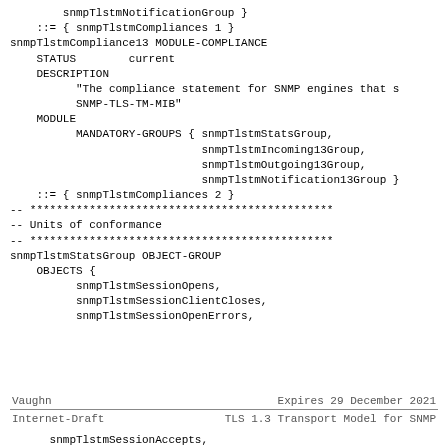snmpTlstmNotificationGroup }
    ::= { snmpTlstmCompliances 1 }
snmpTlstmCompliance13 MODULE-COMPLIANCE
    STATUS        current
    DESCRIPTION
          "The compliance statement for SNMP engines that s
          SNMP-TLS-TM-MIB"
    MODULE
          MANDATORY-GROUPS { snmpTlstmStatsGroup,
                             snmpTlstmIncoming13Group,
                             snmpTlstmOutgoing13Group,
                             snmpTlstmNotification13Group }
    ::= { snmpTlstmCompliances 2 }
-- ************************************************
-- Units of conformance
-- ************************************************
snmpTlstmStatsGroup OBJECT-GROUP
    OBJECTS {
          snmpTlstmSessionOpens,
          snmpTlstmSessionClientCloses,
          snmpTlstmSessionOpenErrors,
Vaughn                    Expires 29 December 2021
Internet-Draft       TLS 1.3 Transport Model for SNMP
snmpTlstmSessionAccepts,